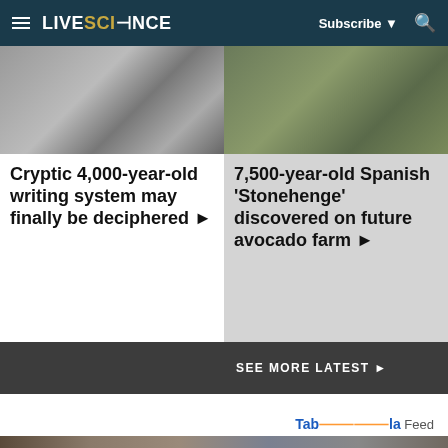LIVESCIENCE — Subscribe ▼ 🔍
[Figure (photo): Grayscale photo of an ancient artifact or stone carving]
Cryptic 4,000-year-old writing system may finally be deciphered ▶
[Figure (photo): Aerial or ground photo of stones on grassy terrain resembling standing stones]
7,500-year-old Spanish 'Stonehenge' discovered on future avocado farm ▶
SEE MORE LATEST ▶
Taboola Feed
[Figure (photo): Advertisement image strip showing camouflage-textured content]